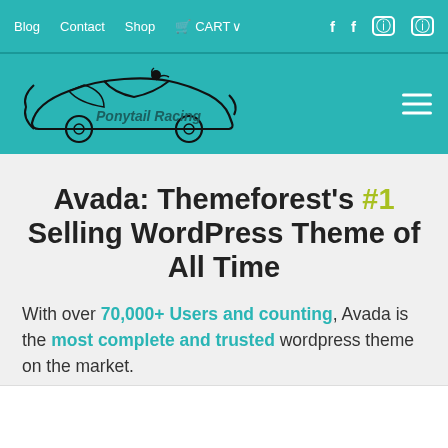Blog  Contact  Shop  CART  f  f  [instagram]  [instagram]
[Figure (logo): Ponytail Racing logo with car silhouette and ponytail figure on teal background]
Avada: Themeforest's #1 Selling WordPress Theme of All Time
With over 70,000+ Users and counting, Avada is the most complete and trusted wordpress theme on the market.